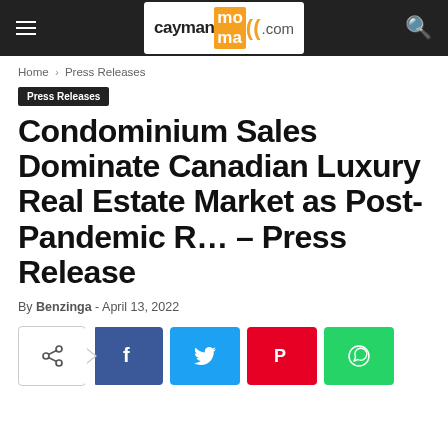caymanmama.com
Home › Press Releases
Press Releases
Condominium Sales Dominate Canadian Luxury Real Estate Market as Post-Pandemic R… – Press Release
By Benzinga - April 13, 2022